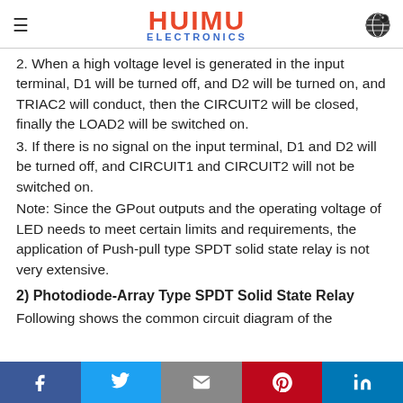HUIMU ELECTRONICS
2. When a high voltage level is generated in the input terminal, D1 will be turned off, and D2 will be turned on, and TRIAC2 will conduct, then the CIRCUIT2 will be closed, finally the LOAD2 will be switched on.
3. If there is no signal on the input terminal, D1 and D2 will be turned off, and CIRCUIT1 and CIRCUIT2 will not be switched on.
Note: Since the GPout outputs and the operating voltage of LED needs to meet certain limits and requirements, the application of Push-pull type SPDT solid state relay is not very extensive.
2) Photodiode-Array Type SPDT Solid State Relay
Following shows the common circuit diagram of the
f  t  ✉  p  in